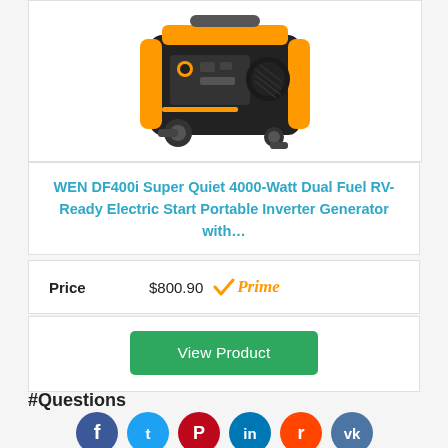[Figure (photo): Orange and black WEN portable inverter generator on white background]
WEN DF400i Super Quiet 4000-Watt Dual Fuel RV-Ready Electric Start Portable Inverter Generator with…
Price  $800.90  Prime
View Product
#Questions
[Figure (infographic): Social media share buttons: Facebook, Twitter, Pinterest, LinkedIn, Reddit, VK]